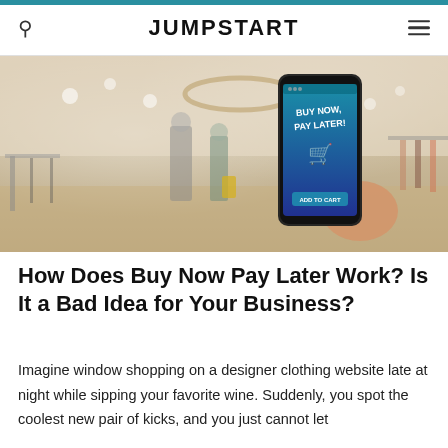JUMPSTART
[Figure (photo): Person holding a smartphone displaying 'BUY NOW, PAY LATER!' with shopping cart icon and 'ADD TO CART' button, set against a blurred retail clothing store interior background.]
How Does Buy Now Pay Later Work? Is It a Bad Idea for Your Business?
Imagine window shopping on a designer clothing website late at night while sipping your favorite wine. Suddenly, you spot the coolest new pair of kicks, and you just cannot let